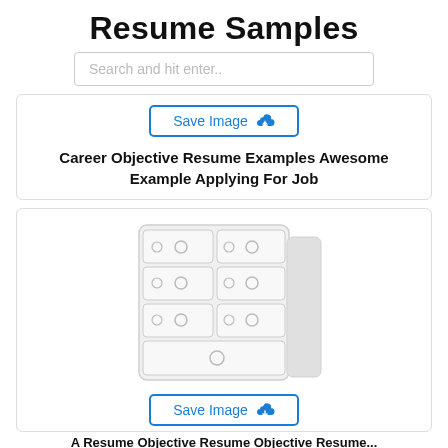Resume Samples
Search and hit enter..
[Figure (screenshot): Card with Save Image button and text label: Career Objective Resume Examples Awesome Example Applying For Job]
[Figure (illustration): Illustration of a white chest of drawers/filing cabinet with multiple drawer rows and circular handles]
Save Image (cloud upload icon)
A Resume Objective Resume Objective Resume...